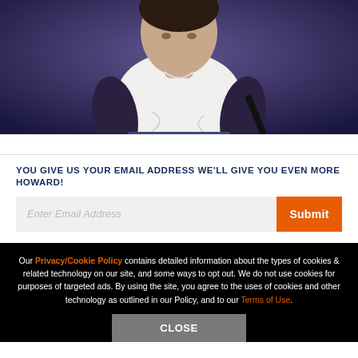[Figure (photo): Photo of a person wearing a white t-shirt, seated, with a dark/purple background]
YOU GIVE US YOUR EMAIL ADDRESS WE'LL GIVE YOU EVEN MORE HOWARD!
Enter Email Address [input field] Submit [button]
Our Privacy/Cookie Policy contains detailed information about the types of cookies & related technology on our site, and some ways to opt out. We do not use cookies for purposes of targeted ads. By using the site, you agree to the uses of cookies and other technology as outlined in our Policy, and to our Terms of Use.
Close